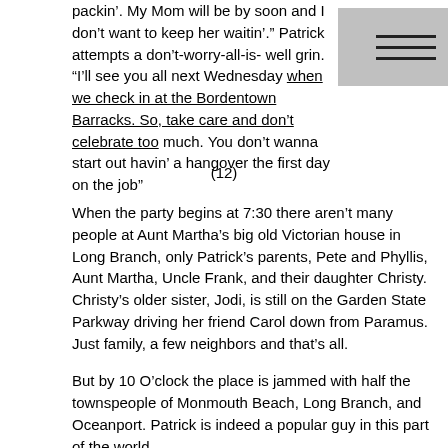packin’. My Mom will be by soon and I don’t want to keep her waitin’.” Patrick attempts a don’t-worry-all-is- well grin. “I’ll see you all next Wednesday when we check in at the Bordentown Barracks. So, take care and don’t celebrate too much. You don’t wanna start out havin’ a hangover the first day on the job”
(12)
When the party begins at 7:30 there aren’t many people at Aunt Martha’s big old Victorian house in Long Branch, only Patrick’s parents, Pete and Phyllis, Aunt Martha, Uncle Frank, and their daughter Christy. Christy’s older sister, Jodi, is still on the Garden State Parkway driving her friend Carol down from Paramus. Just family, a few neighbors and that’s all.
But by 10 O’clock the place is jammed with half the townspeople of Monmouth Beach, Long Branch, and Oceanport. Patrick is indeed a popular guy in this part of the world.
A mob of old and new buddies hoist brown bottles of Budweiser in countless, “Here’s to you” toasts, followed by much sarcastic yuk-yukking about Patrick’s prowess as a softball player, his off-key singing voice, and his popularity with the girls of Monmouth County. The dining room table is filled cheek-to-jowl with sterno heated aluminum trays brimming with lasagna, ravioli, veal parmigiano, meatballs, and chicken cacciatore. Phyllis and Martha are kept busy filling the trays of Italian food favorites, but the sushi is about as popular as fish bait. Asian delicacies have not yet caught on with the “Townies” of the Jersey